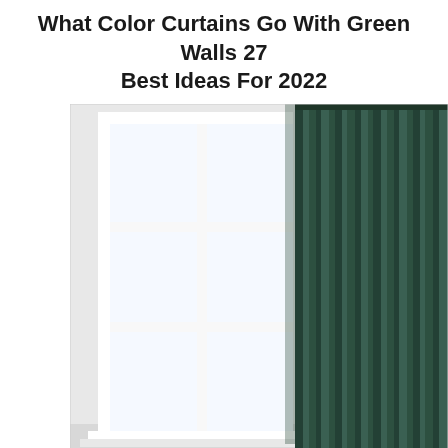What Color Curtains Go With Green Walls 27 Best Ideas For 2022
[Figure (photo): A dark forest green curtain panel hanging next to a white French-style window with multiple panes, set against a light grey/white background. The curtain has vertical folds and extends from top to bottom of the frame.]